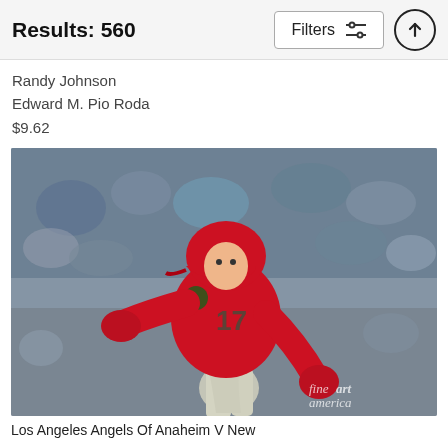Results: 560
Randy Johnson
Edward M. Pio Roda
$9.62
[Figure (photo): Baseball player wearing Los Angeles Angels red uniform number 17 running, with crowd in background. Fine Art America watermark in bottom right.]
Los Angeles Angels Of Anaheim V New